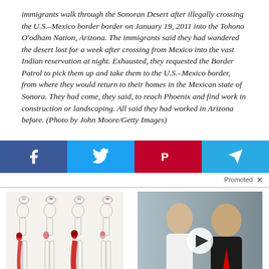immigrants walk through the Sonoran Desert after illegally crossing the U.S.–Mexico border border on January 19, 2011 into the Tohono O'odham Nation, Arizona. The immigrants said they had wandered the desert lost for a week after crossing from Mexico into the vast Indian reservation at night. Exhausted, they requested the Border Patrol to pick them up and take them to the U.S.–Mexico border, from where they would return to their homes in the Mexican state of Sonora. They had come, they said, to reach Phoenix and find work in construction or landscaping. All said they had worked in Arizona before. (Photo by John Moore/Getty Images)
[Figure (infographic): Social sharing buttons for Facebook, Twitter, Parler, and Telegram]
Promoted
[Figure (photo): Advertisement showing sciatic nerve decay illustration with human leg diagrams highlighting pain areas]
Signs You May Have Sciatic Nerve Decay
[Figure (photo): Advertisement showing a video thumbnail with two people, a play button overlay. Trump Wants This Video Shared A Million Times — Watch Now Before It's Banned! 46,360 reactions]
Trump Wants This Video Shared A Million Times — Watch Now Before It's Banned! 46,360